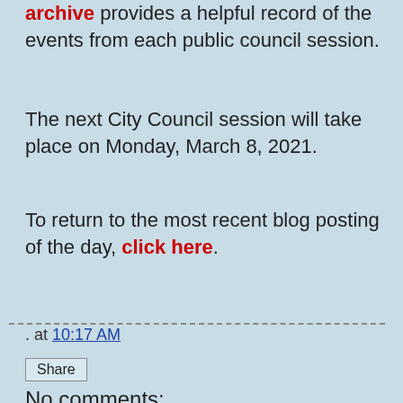archive provides a helpful record of the events from each public council session.
The next City Council session will take place on Monday, March 8, 2021.
To return to the most recent blog posting of the day, click here.
. at 10:17 AM
Share
No comments: